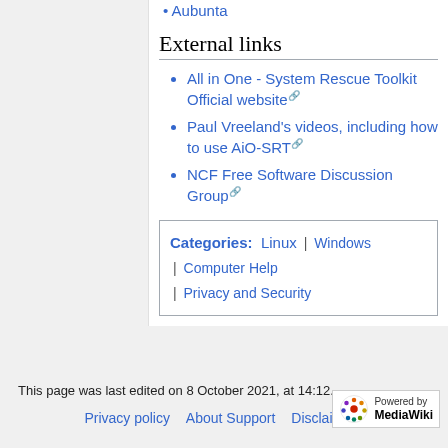Aubunta
External links
All in One - System Rescue Toolkit Official website
Paul Vreeland's videos, including how to use AiO-SRT
NCF Free Software Discussion Group
Categories: Linux | Windows | Computer Help | Privacy and Security
This page was last edited on 8 October 2021, at 14:12.
Privacy policy   About Support   Disclaimers